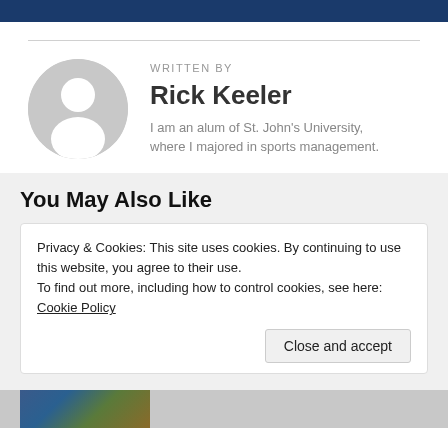[Figure (photo): Default user avatar placeholder — a gray circle with a white silhouette of a person (head and shoulders)]
WRITTEN BY
Rick Keeler
I am an alum of St. John's University, where I majored in sports management.
You May Also Like
Privacy & Cookies: This site uses cookies. By continuing to use this website, you agree to their use.
To find out more, including how to control cookies, see here: Cookie Policy
Close and accept
[Figure (photo): Partial thumbnail image of a person wearing a cap, cropped at the bottom of the page]